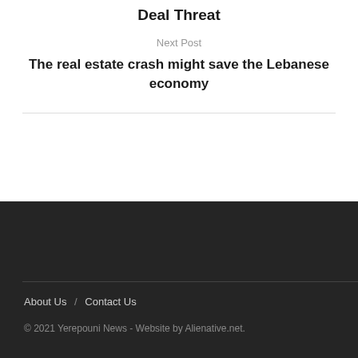Deal Threat
Next Post
The real estate crash might save the Lebanese economy
About Us / Contact Us
© 2021 Yerepouni News - Website by Alienative.net.